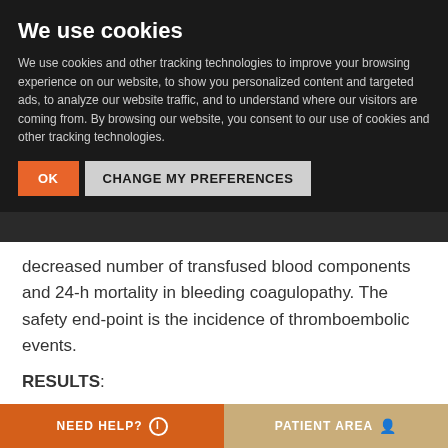We use cookies
We use cookies and other tracking technologies to improve your browsing experience on our website, to show you personalized content and targeted ads, to analyze our website traffic, and to understand where our visitors are coming from. By browsing our website, you consent to our use of cookies and other tracking technologies.
OK | CHANGE MY PREFERENCES
ernational normalised ratio 5) and (i) clinical efficacy as bleeding cessation and/or decreased number of transfused blood components and 24-h mortality in bleeding coagulopathy. The safety end-point is the incidence of thromboembolic events.
RESULTS:
A total of 328 patients were included (51·8% male, median age 78 years old). Indications
NEED HELP? ℹ    PATIENT AREA 👤